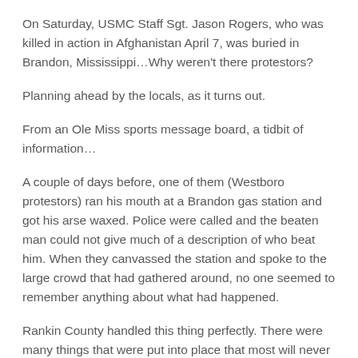On Saturday, USMC Staff Sgt. Jason Rogers, who was killed in action in Afghanistan April 7, was buried in Brandon, Mississippi…Why weren't there protestors?
Planning ahead by the locals, as it turns out.
From an Ole Miss sports message board, a tidbit of information…
A couple of days before, one of them (Westboro protestors) ran his mouth at a Brandon gas station and got his arse waxed. Police were called and the beaten man could not give much of a description of who beat him. When they canvassed the station and spoke to the large crowd that had gathered around, no one seemed to remember anything about what had happened.
Rankin County handled this thing perfectly. There were many things that were put into place that most will never know about and at great expense to the county.
Most of the morons never made it out of their hotel